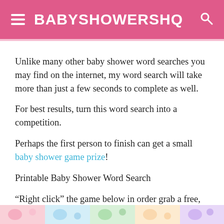BABYSHOWERSHQ
Unlike many other baby shower word searches you may find on the internet, my word search will take more than just a few seconds to complete as well.
For best results, turn this word search into a competition.
Perhaps the first person to finish can get a small baby shower game prize!
Printable Baby Shower Word Search
“Right click” the game below in order grab a free, downloadable, and printable version of my popular baby shower word search game.
Don’t forget to print it out in color!
[Figure (illustration): Colorful baby-themed decorative strip at the bottom of the page]